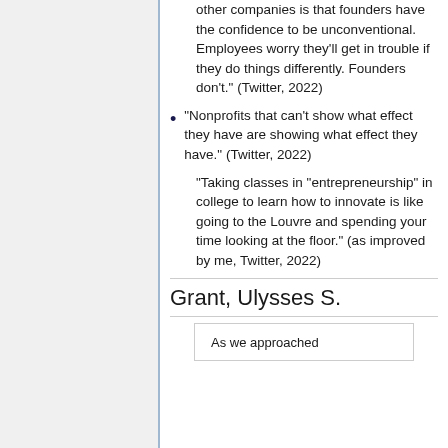other companies is that founders have the confidence to be unconventional. Employees worry they'll get in trouble if they do things differently. Founders don't." (Twitter, 2022)
"Nonprofits that can't show what effect they have are showing what effect they have." (Twitter, 2022)
"Taking classes in "entrepreneurship" in college to learn how to innovate is like going to the Louvre and spending your time looking at the floor." (as improved by me, Twitter, 2022)
Grant, Ulysses S.
As we approached